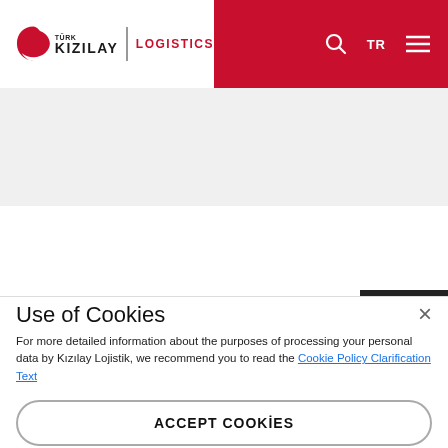[Figure (logo): Türk Kızılay Logistics logo with red crescent moon symbol on left, vertical divider, and LOGISTICS text in red]
[Figure (screenshot): Red navigation bar with search icon, TR language toggle, and hamburger menu icon]
[Figure (other): Gray banner/hero area below header]
Use of Cookies
For more detailed information about the purposes of processing your personal data by Kızılay Lojistik, we recommend you to read the Cookie Policy Clarification Text
ACCEPT COOKİES